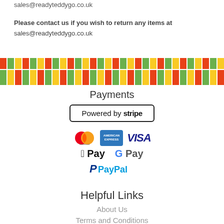sales@readyteddygo.co.uk
Please contact us if you wish to return any items at sales@readyteddygo.co.uk
[Figure (illustration): Decorative barcode-style stripe banner with repeating vertical bars in red, yellow/gold, and green colors]
Payments
[Figure (logo): Powered by stripe badge — rectangular badge with black border and text 'Powered by stripe']
[Figure (logo): Payment method logos: Mastercard, American Express, VISA, Apple Pay, G Pay, PayPal]
Helpful Links
About Us
Terms and Conditions